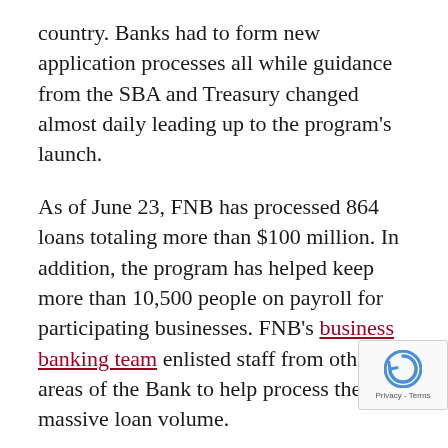country. Banks had to form new application processes all while guidance from the SBA and Treasury changed almost daily leading up to the program's launch.
As of June 23, FNB has processed 864 loans totaling more than $100 million. In addition, the program has helped keep more than 10,500 people on payroll for participating businesses. FNB's business banking team enlisted staff from other areas of the Bank to help process the massive loan volume.
“People were here until after midnight and weekends processing these loans,” Keckler said. “We knew that this was going to be a